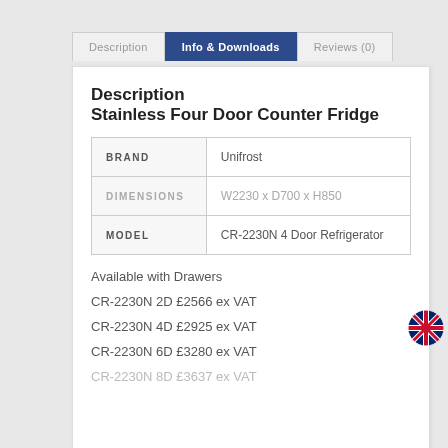Description | Info & Downloads | Reviews (0)
Description
Stainless Four Door Counter Fridge
|  |  |
| --- | --- |
| BRAND | Unifrost |
| DIMENSIONS | W2230 x D700 x H850 |
| MODEL | CR-2230N 4 Door Refrigerator |
Available with Drawers
CR-2230N 2D £2566 ex VAT
CR-2230N 4D £2925 ex VAT
CR-2230N 6D £3280 ex VAT
CR-2230N 8D £3637 ex VAT